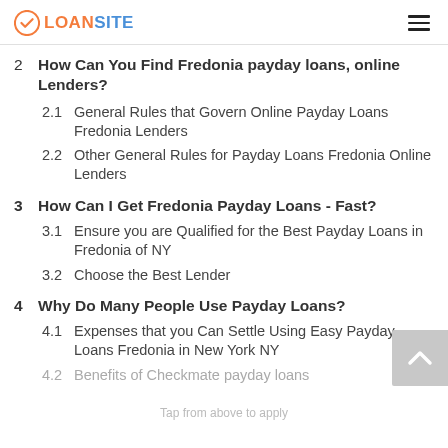LOANSITE
2  How Can You Find Fredonia payday loans, online Lenders?
2.1  General Rules that Govern Online Payday Loans Fredonia Lenders
2.2  Other General Rules for Payday Loans Fredonia Online Lenders
3  How Can I Get Fredonia Payday Loans - Fast?
3.1  Ensure you are Qualified for the Best Payday Loans in Fredonia of NY
3.2  Choose the Best Lender
4  Why Do Many People Use Payday Loans?
4.1  Expenses that you Can Settle Using Easy Payday Loans Fredonia in New York NY
4.2  Benefits of Checkmate payday loans